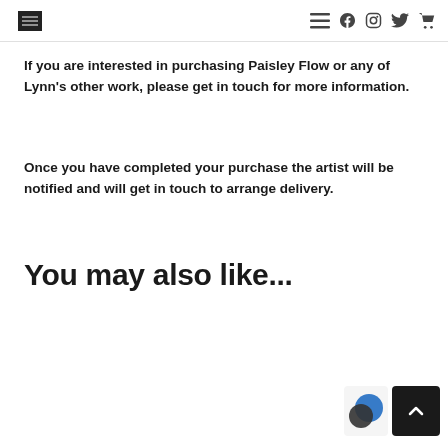[Logo] [Hamburger menu] [Facebook] [Instagram] [Twitter] [Cart]
If you are interested in purchasing Paisley Flow or any of Lynn's other work, please get in touch for more information.
Once you have completed your purchase the artist will be notified and will get in touch to arrange delivery.
You may also like...